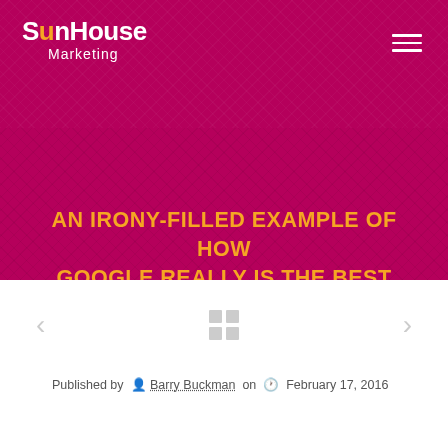[Figure (logo): SunHouse Marketing logo — white text with orange 'o' in 'House', tagline 'Marketing' below]
AN IRONY-FILLED EXAMPLE OF HOW GOOGLE REALLY IS THE BEST SEARCH ENGINE
Published by  Barry Buckman on  February 17, 2016